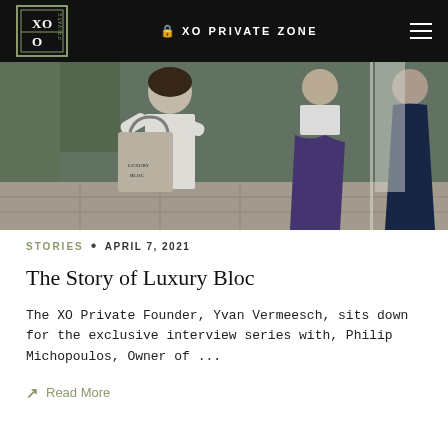XO PRIVATE ZONE
[Figure (photo): Outdoor event scene with women in white and navy blue formal attire, one carrying a tote bag with 'Luxury Bloc' branding]
STORIES • APRIL 7, 2021
The Story of Luxury Bloc
The XO Private Founder, Yvan Vermeesch, sits down for the exclusive interview series with, Philip Michopoulos, Owner of ...
↗ Read More